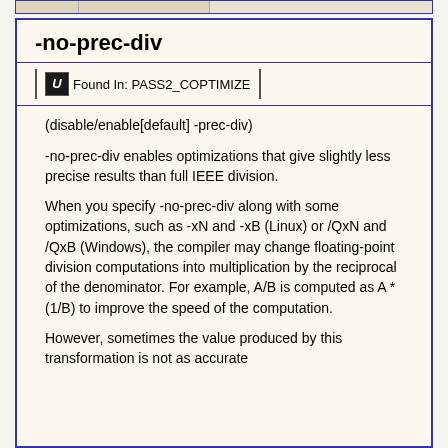-no-prec-div
Found In: PASS2_COPTIMIZE
(disable/enable[default] -prec-div)
-no-prec-div enables optimizations that give slightly less precise results than full IEEE division.
When you specify -no-prec-div along with some optimizations, such as -xN and -xB (Linux) or /QxN and /QxB (Windows), the compiler may change floating-point division computations into multiplication by the reciprocal of the denominator. For example, A/B is computed as A * (1/B) to improve the speed of the computation.
However, sometimes the value produced by this transformation is not as accurate as full IEEE division. When this is...